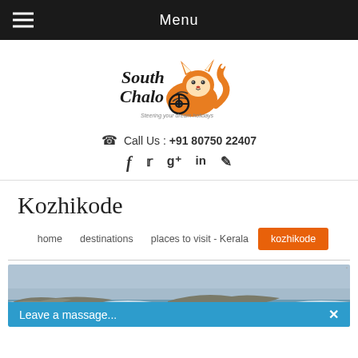Menu
[Figure (logo): South Chalo travel agency logo with fox mascot and tagline 'Steering your dream holidays']
Call Us : +91 80750 22407
Social icons: Facebook, Twitter, Google+, LinkedIn, Blogger
Kozhikode
home  destinations  places to visit - Kerala  kozhikode
[Figure (photo): Coastal beach scene at Kozhikode, Kerala, showing rocky shoreline, sea waves, sandy beach with a boat and a person standing near it]